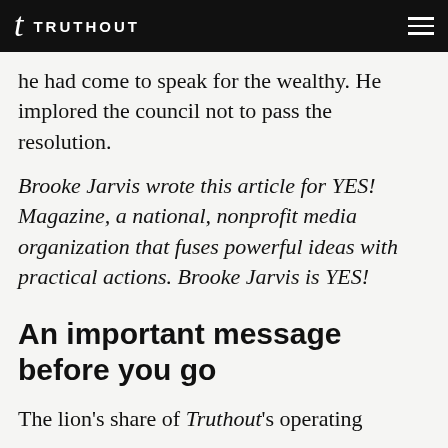TRUTHOUT
he had come to speak for the wealthy. He implored the council not to pass the resolution.
Brooke Jarvis wrote this article for YES! Magazine, a national, nonprofit media organization that fuses powerful ideas with practical actions. Brooke Jarvis is YES! Magazine’s web editor.
An important message before you go
The lion’s share of Truthout’s operating